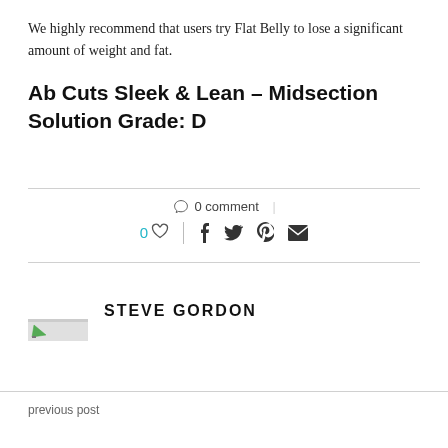We highly recommend that users try Flat Belly to lose a significant amount of weight and fat.
Ab Cuts Sleek & Lean – Midsection Solution Grade: D
0 comment
0 ♡  f  𝕏  𝒑  ✉
STEVE GORDON
previous post